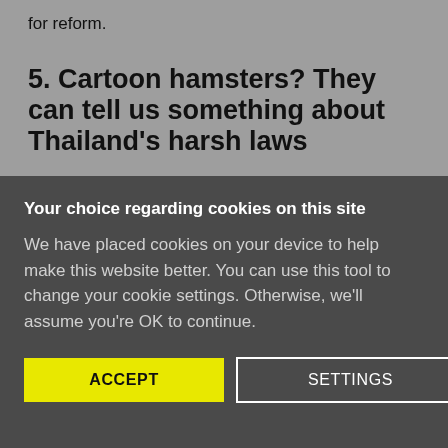for reform.
5. Cartoon hamsters? They can tell us something about Thailand's harsh laws
Holding up a Hamtaro doll at a mass protest might
Your choice regarding cookies on this site
We have placed cookies on your device to help make this website better. You can use this tool to change your cookie settings. Otherwise, we'll assume you're OK to continue.